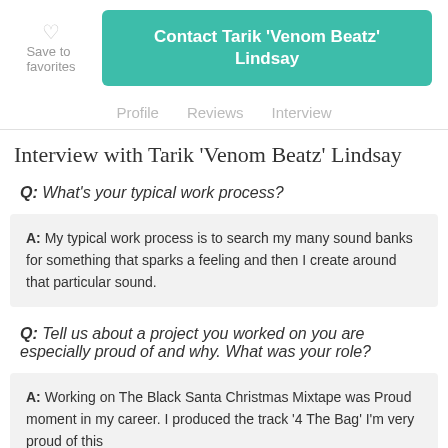Save to favorites
Contact Tarik 'Venom Beatz' Lindsay
Profile   Reviews   Interview
Interview with Tarik 'Venom Beatz' Lindsay
Q: What's your typical work process?
A: My typical work process is to search my many sound banks for something that sparks a feeling and then I create around that particular sound.
Q: Tell us about a project you worked on you are especially proud of and why. What was your role?
A: Working on The Black Santa Christmas Mixtape was Proud moment in my career. I produced the track '4 The Bag' I'm very proud of this